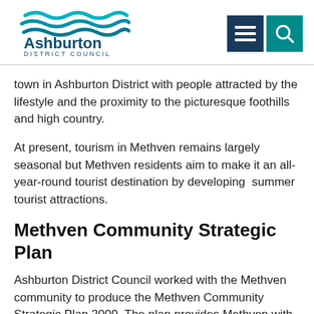[Figure (logo): Ashburton District Council logo with teal wave graphic and text]
town in Ashburton District with people attracted by the lifestyle and the proximity to the picturesque foothills and high country.
At present, tourism in Methven remains largely seasonal but Methven residents aim to make it an all-year-round tourist destination by developing  summer tourist attractions.
Methven Community Strategic Plan
Ashburton District Council worked with the Methven community to produce the Methven Community Strategic Plan 2009. The plan provides Methven with a 'roadmap' for the community's direction and development for the ten year period.